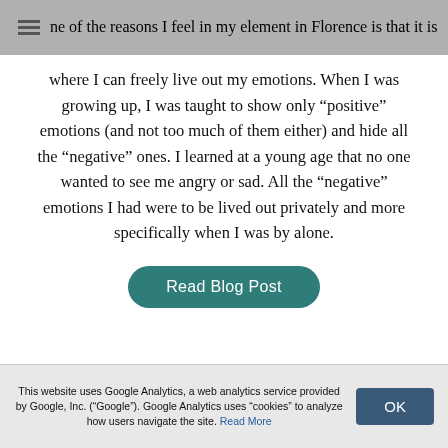ne of the reasons I feel in my element in Florence is that it is
where I can freely live out my emotions. When I was growing up, I was taught to show only “positive” emotions (and not too much of them either) and hide all the “negative” ones. I learned at a young age that no one wanted to see me angry or sad. All the “negative” emotions I had were to be lived out privately and more specifically when I was by alone.
Read Blog Post
Running along the Arno before taking off
This website uses Google Analytics, a web analytics service provided by Google, Inc. (“Google”). Google Analytics uses “cookies” to analyze how users navigate the site. Read More